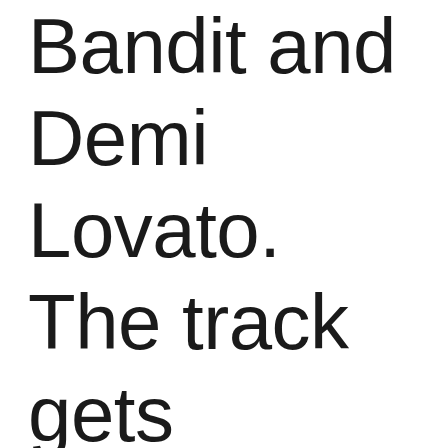Bandit and Demi Lovato. The track gets certified with Platinum